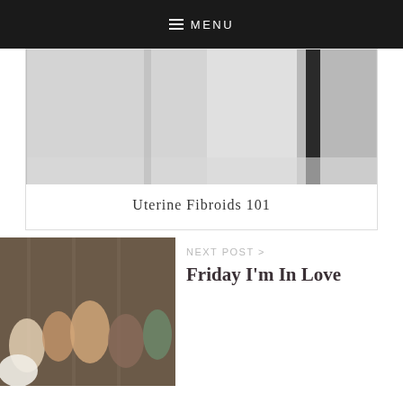MENU
[Figure (photo): Interior hallway or corridor with light gray floors and walls, dark vertical element on right side]
Uterine Fibroids 101
NEXT POST >
[Figure (photo): Group of women seated and standing in artistic portrait, various colorful outfits against wooden background]
Friday I'm In Love
[Figure (photo): Circular cropped image showing ornate interior with pink/magenta tones and a hanging lantern or chandelier]